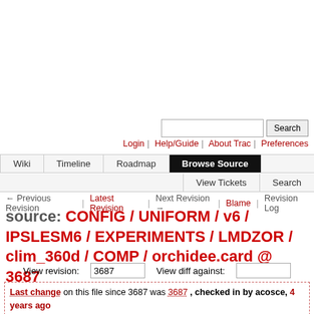Search | Login | Help/Guide | About Trac | Preferences
Wiki | Timeline | Roadmap | Browse Source | View Tickets | Search
← Previous Revision | Latest Revision | Next Revision → | Blame | Revision Log
source: CONFIG / UNIFORM / v6 / IPSLESM6 / EXPERIMENTS / LMDZOR / clim_360d / COMP / orchidee.card @ 3687
View revision: 3687    View diff against:
Last change on this file since 3687 was 3687, checked in by acosce, 4 years ago
Update IPSLESM to comply with v6 standard and add the AER experiment for the coupled model